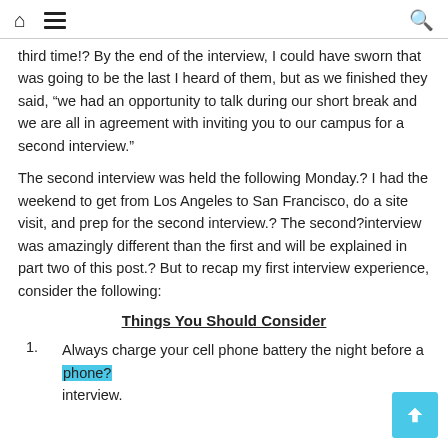[home icon] [menu icon] [search icon]
third time!? By the end of the interview, I could have sworn that was going to be the last I heard of them, but as we finished they said, “we had an opportunity to talk during our short break and we are all in agreement with inviting you to our campus for a second interview.”
The second interview was held the following Monday.? I had the weekend to get from Los Angeles to San Francisco, do a site visit, and prep for the second interview.? The second?interview was amazingly different than the first and will be explained in part two of this post.? But to recap my first interview experience, consider the following:
Things You Should Consider
Always charge your cell phone battery the night before a phone? interview.